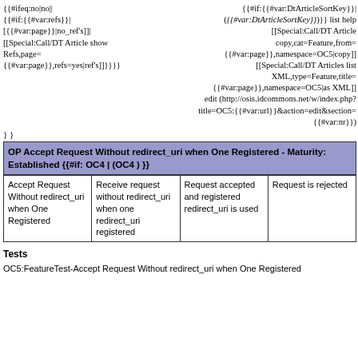{{#ifeq:no|no||
{{#if:{{#var:DtArticleSortKey}}|
({{#var:DtArticleSortKey}})}}   list help
[[Special:Call/DT Article
copy,cat=Feature,from=
{{#var:page}},namespace=OC5|copy]]
[[Special:Call/DT Articles list
XML,type=Feature,title=
{{#var:page}},namespace=OC5|as XML]]
edit (http://osis.idcommons.net/w/index.php?
title=OC5:{{#var:url}}&action=edit&section=
{{#var:nr}})
{{#if:{{#var:refs}}|
[{{#var:page}}|no_ref's]]
[[Special:Call/DT Article show
Refs,page=
{{#var:page}},refs=yes|ref's]]}}}}
}}
OP Accept Request Without redirect_uri when One Registered - Maturity: Established {{#if: OC4 | (OC4 ) }}
|  |  |  |  |
| --- | --- | --- | --- |
| Accept Request Without redirect_uri when One Registered | Receive request without redirect_uri when one redirect_uri registered | Request accepted and registered redirect_uri is used | Request is rejected |
Tests
OC5:FeatureTest-Accept Request Without redirect_uri when One Registered